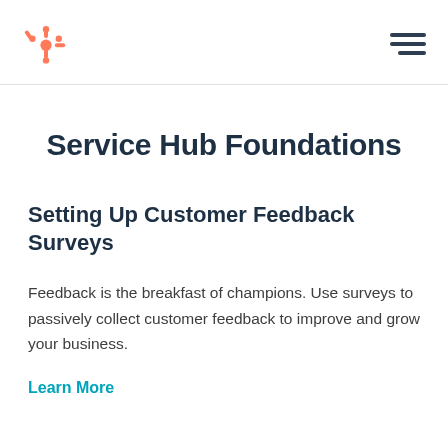HubSpot logo and navigation menu
Service Hub Foundations
Setting Up Customer Feedback Surveys
Feedback is the breakfast of champions. Use surveys to passively collect customer feedback to improve and grow your business.
Learn More